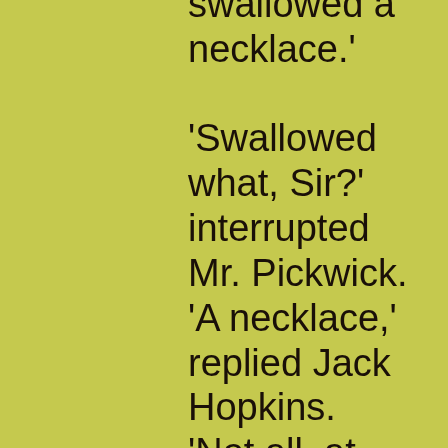swallowed a necklace.' 'Swallowed what, Sir?' interrupted Mr. Pickwick. 'A necklace,' replied Jack Hopkins. 'Not all at once, you